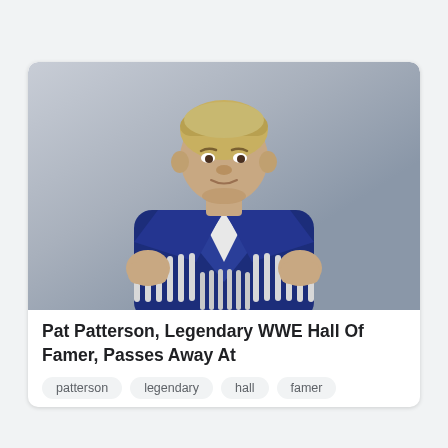[Figure (photo): Pat Patterson, a wrestler wearing a dark navy blue jacket with white fringe, posing with hands raised holding the jacket lapels, against a grey background.]
Pat Patterson, Legendary WWE Hall Of Famer, Passes Away At
patterson
legendary
hall
famer